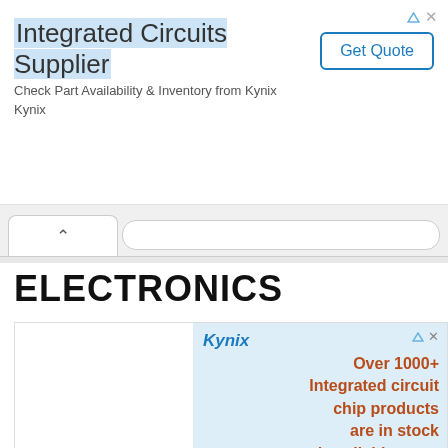[Figure (screenshot): Top advertisement banner for Kynix - Integrated Circuits Supplier with Get Quote button]
Integrated Circuits Supplier
Check Part Availability & Inventory from Kynix Kynix
[Figure (screenshot): Browser tab bar with chevron and address input]
ELECTRONICS
[Figure (screenshot): Kynix advertisement banner showing Kynix logo on left and chip image with text 'Over 1000+ Integrated circuit chip products are in stock and available now.' on blue-tinted right panel]
Integrated Circuits Supplier
Check Part Availability & Inventory